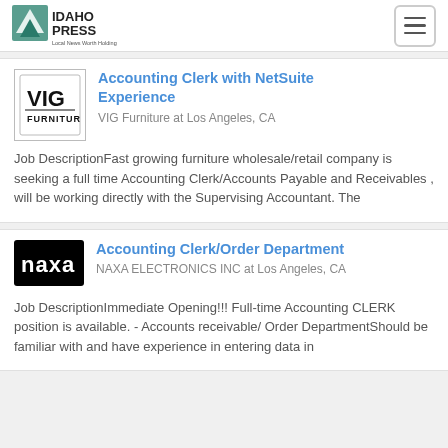Idaho Press - Local News Worth Holding
Accounting Clerk with NetSuite Experience
VIG Furniture at Los Angeles, CA
Job DescriptionFast growing furniture wholesale/retail company is seeking a full time Accounting Clerk/Accounts Payable and Receivables , will be working directly with the Supervising Accountant. The
Accounting Clerk/Order Department
NAXA ELECTRONICS INC at Los Angeles, CA
Job DescriptionImmediate Opening!!! Full-time Accounting CLERK position is available. - Accounts receivable/ Order DepartmentShould be familiar with and have experience in entering data in